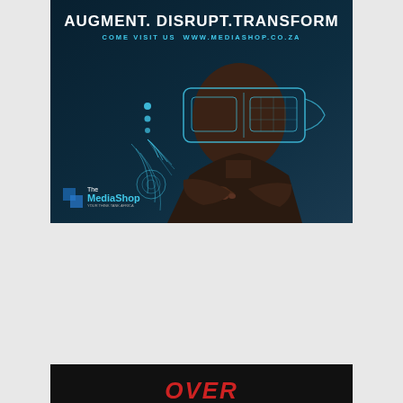[Figure (illustration): The MediaShop advertisement banner with dark teal background showing a person wearing a futuristic VR headset outline, with decorative blue circular patterns on the left. Text reads AUGMENT. DISRUPT. TRANSFORM with subtitle COME VISIT US WWW.MEDIASHOP.CO.ZA and The MediaShop logo at bottom left.]
FOLLOW US
[Figure (infographic): Row of social media icons: Facebook (blue), Twitter (light blue), YouTube (red), Pinterest (red), Instagram (steel blue)]
[Figure (illustration): Black background section showing the word OVER in large bold red italic text, partial view of more text below.]